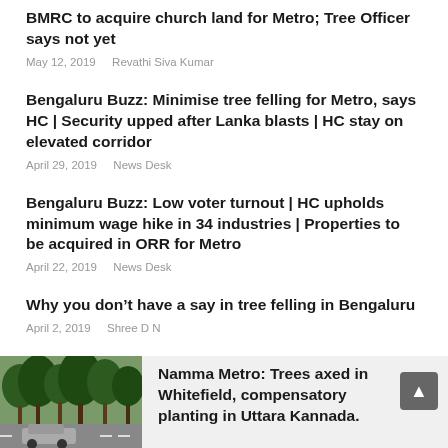BMRC to acquire church land for Metro; Tree Officer says not yet
May 12, 2019   Revathi Siva Kumar
Bengaluru Buzz: Minimise tree felling for Metro, says HC | Security upped after Lanka blasts | HC stay on elevated corridor
April 29, 2019   News Desk
Bengaluru Buzz: Low voter turnout | HC upholds minimum wage hike in 34 industries | Properties to be acquired in ORR for Metro
April 22, 2019   News Desk
Why you don’t have a say in tree felling in Bengaluru
April 2, 2019   Shree D N
[Figure (photo): Photo of trees and a car on a road, related to Namma Metro article]
Namma Metro: Trees axed in Whitefield, compensatory planting in Uttara Kannada.